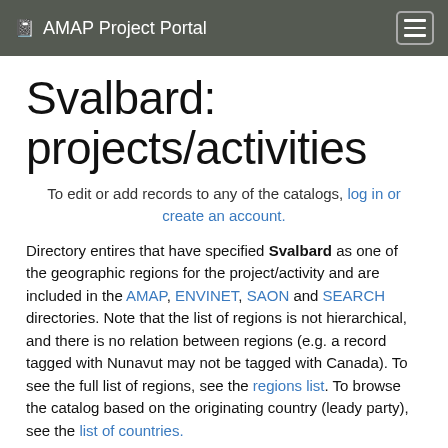AMAP Project Portal
Svalbard: projects/activities
To edit or add records to any of the catalogs, log in or create an account.
Directory entires that have specified Svalbard as one of the geographic regions for the project/activity and are included in the AMAP, ENVINET, SAON and SEARCH directories. Note that the list of regions is not hierarchical, and there is no relation between regions (e.g. a record tagged with Nunavut may not be tagged with Canada). To see the full list of regions, see the regions list. To browse the catalog based on the originating country (leady party), see the list of countries.
It is also possible to browse and query the full list of projects.